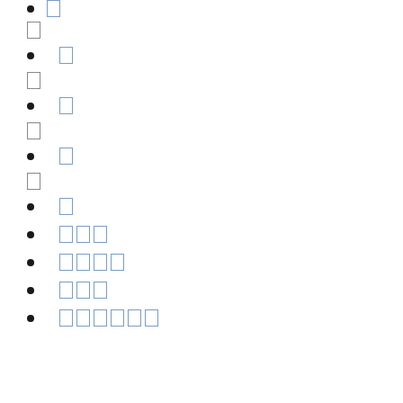□
□
□
□
□
□
□
□
□
□
□□□
□□□□
□□□
□□□□□□